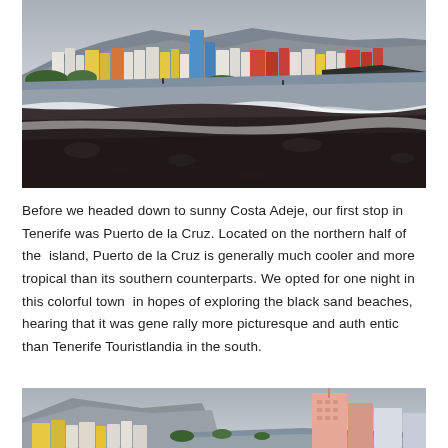[Figure (photo): Black volcanic sand beach in Puerto de la Cruz, Tenerife. Colorful buildings (white, yellow, orange, red) line the background along the northern coast. Dark lava rock beach in the foreground with white wave foam and the Atlantic Ocean visible. Overcast sky with mountains behind the town.]
Before we headed down to sunny Costa Adeje, our first stop in Tenerife was Puerto de la Cruz. Located on the northern half of the island, Puerto de la Cruz is generally much cooler and more tropical than its southern counterparts. We opted for one night in this colorful town in hopes of exploring the black sand beaches, hearing that it was generally more picturesque and authentic than Tenerife Touristlandia in the south.
[Figure (photo): Bottom portion of a photo showing colorful buildings in Puerto de la Cruz, Tenerife. A pink/salmon tall building is visible on the right side, with yellow and other colored buildings on the left. Mountains visible in background under an overcast sky.]